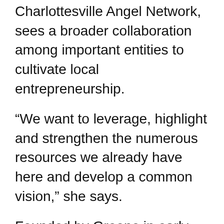Tracey Greene, the founder of the Charlottesville Angel Network, sees a broader collaboration among important entities to cultivate local entrepreneurship.
“We want to leverage, highlight and strengthen the numerous resources we already have here and develop a common vision,” she says.
Founded by Greene in early 2015, the angel investor group has doled out about $7.18 million to 35 startups. Nearly half of those companies are based in Charlottesville, she says, with about a quarter from other areas of Virginia and D.C., and the rest based in other parts of the U.S. and overseas.
Greene says Charlottesville is seeing an uptick